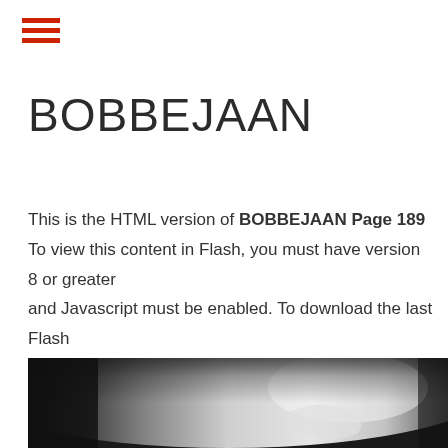≡ (hamburger menu icon)
BOBBEJAAN
This is the HTML version of BOBBEJAAN Page 189
To view this content in Flash, you must have version 8 or greater and Javascript must be enabled. To download the last Flash player click here
[Figure (photo): Close-up photo of a car body panel, showing white/silver metallic surface with dark background, bokeh/blurred style]